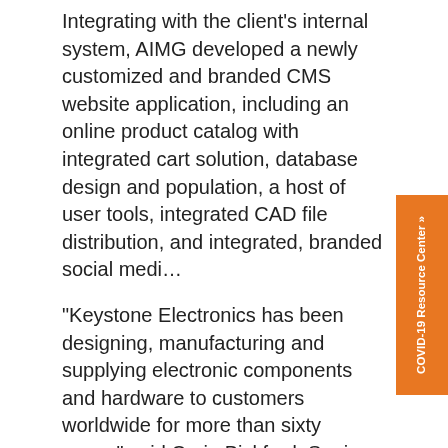Integrating with the client's internal system, AIMG developed a newly customized and branded CMS website application, including an online product catalog with integrated cart solution, database design and population, a host of user tools, integrated CAD file distribution, and integrated, branded social medi…
"Keystone Electronics has been designing, manufacturing and supplying electronic components and hardware to customers worldwide for more than sixty years," said Craig Bickford, Senior Project Manager at AIMG. "With more than 30 product categories and thousands of products, they were looking for the best way to present and manage their stock as well as CAD files online so that customers, who are chiefly distributors, as well as their own administrators, could access what they need easily and efficiently."
[Figure (other): Orange vertical sidebar tab with text 'COVID-19 Resource Center »' rotated vertically]